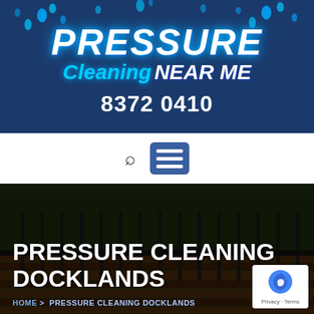[Figure (logo): Pressure Cleaning Near Me logo on dark blue background with water droplets and phone number 8372 0410]
[Figure (screenshot): Website navigation bar with search icon and hamburger menu icon]
[Figure (photo): Dark photo of a wooden deck with vertical railings and trees in background]
PRESSURE CLEANING DOCKLANDS
HOME > PRESSURE CLEANING DOCKLANDS